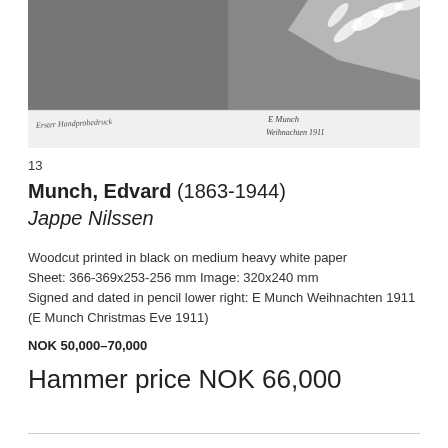[Figure (photo): Black and white artwork image showing a woodcut print with handwritten inscription lower left and signature lower right reading 'E Munch Weihnachten 1911']
13
Munch, Edvard (1863-1944)
Jappe Nilssen
Woodcut printed in black on medium heavy white paper
Sheet: 366-369x253-256 mm Image: 320x240 mm
Signed and dated in pencil lower right: E Munch Weihnachten 1911
(E Munch Christmas Eve 1911)
NOK 50,000–70,000
Hammer price NOK 66,000